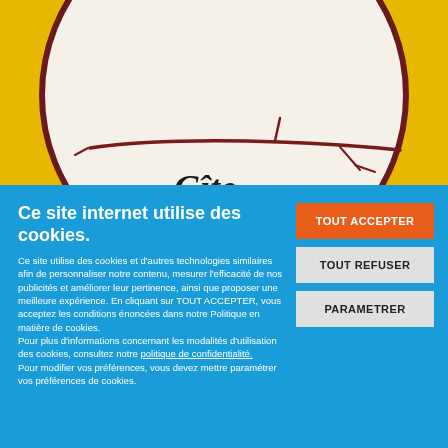[Figure (logo): Circular logo with yellow/gold background at top arc, white circle, dark red/maroon curved branch-like lines across the middle, and partial cursive text 'Gite' at bottom of circle]
Ce site internet utilise des cookies.
Ce site utilise des cookies et d'autres technologies similaires afin de personnaliser notre contenu, mesurer l'efficacité de nos publicités et améliorer leur pertinence, ainsi que proposer une meilleure expérience. En cliquant sur TOUT ACCEPTER, vous acceptez les conditions énoncées dans notre Politique en matière de cookies.
Pour plus d'informations concernant les modalités d'utilisation des cookies, consultez notre politique de confidentialité.
Pour modifier vos préférences, vous devez mettre paramétrer vos préférences de cookies.